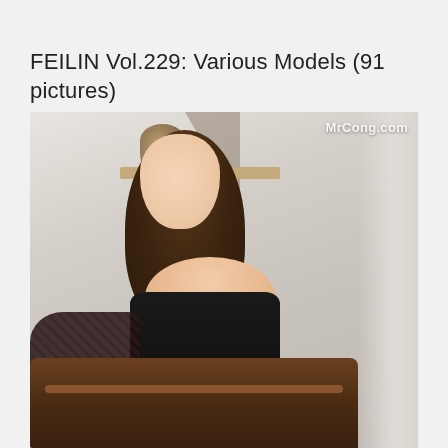FEILIN Vol.229: Various Models (91 pictures)
[Figure (photo): A young woman with long brown wavy hair wearing a black off-shoulder lace dress, looking back over her shoulder. She is posed next to what appears to be a vintage suitcase. Background shows a minimalist interior with a wooden shelf holding a clay vase. Watermark 'MrCong.com' visible in top right corner of image.]